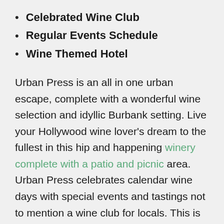Celebrated Wine Club
Regular Events Schedule
Wine Themed Hotel
Urban Press is an all in one urban escape, complete with a wonderful wine selection and idyllic Burbank setting. Live your Hollywood wine lover's dream to the fullest in this hip and happening winery complete with a patio and picnic area. Urban Press celebrates calendar wine days with special events and tastings not to mention a wine club for locals. This is a great modern-style wine venue with a fantastic menu and wine selection to boot. You can always expect to find some fun new indie and artisan wines and this place is absolutely no exception. Their attached hotel makes it